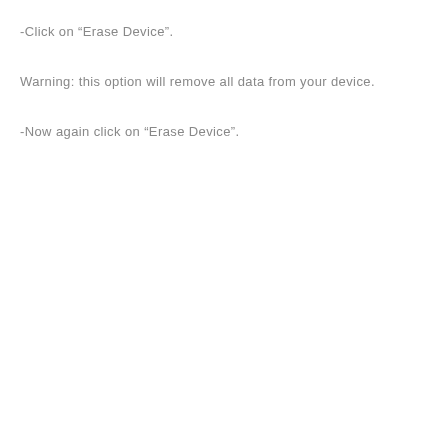-Click on “Erase Device”.
Warning: this option will remove all data from your device.
-Now again click on “Erase Device”.